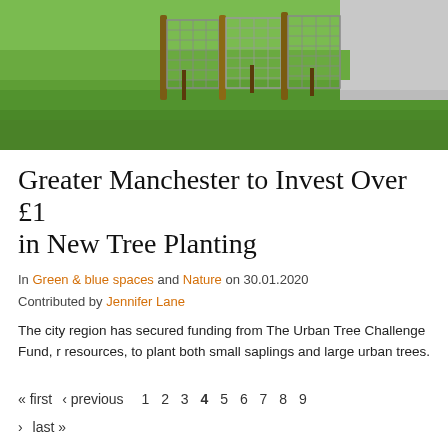[Figure (photo): Photo of young trees in wire mesh guards planted in a grassy area, with a road visible in the background]
Greater Manchester to Invest Over £1 in New Tree Planting
In Green & blue spaces and Nature on 30.01.2020 Contributed by Jennifer Lane
The city region has secured funding from The Urban Tree Challenge Fund, r resources, to plant both small saplings and large urban trees.
« first ‹ previous 1 2 3 4 5 6 7 8 9 › last »